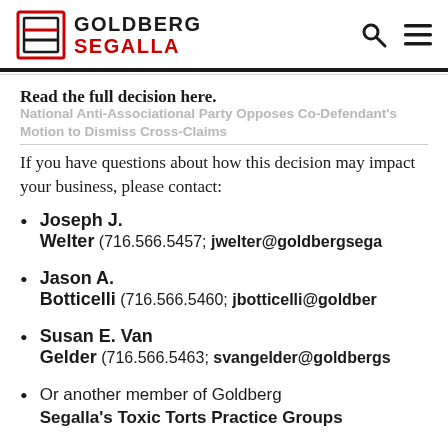Goldberg Segalla
Read the full decision here. National Anti-Associational Party Opposes Co-Defendant's Motion to Dismiss Cross-Claims
If you have questions about how this decision may impact your business, please contact:
Joseph J. Welter (716.566.5457; jwelter@goldbergsega…
Jason A. Botticelli (716.566.5460; jbotticelli@goldber…
Susan E. Van Gelder (716.566.5463; svangelder@goldbergs…
Or another member of Goldberg Segalla's Toxic Torts Practice Groups